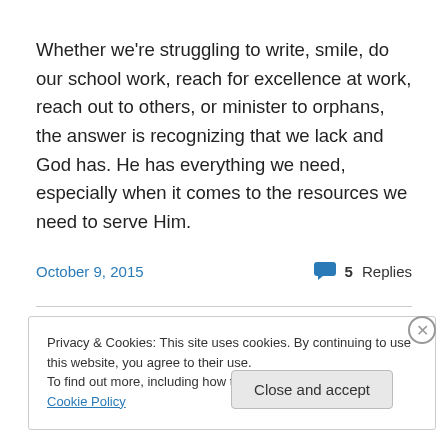Whether we're struggling to write, smile, do our school work, reach for excellence at work, reach out to others, or minister to orphans, the answer is recognizing that we lack and God has. He has everything we need, especially when it comes to the resources we need to serve Him.
October 9, 2015
5 Replies
Privacy & Cookies: This site uses cookies. By continuing to use this website, you agree to their use.
To find out more, including how to control cookies, see here: Cookie Policy
Close and accept